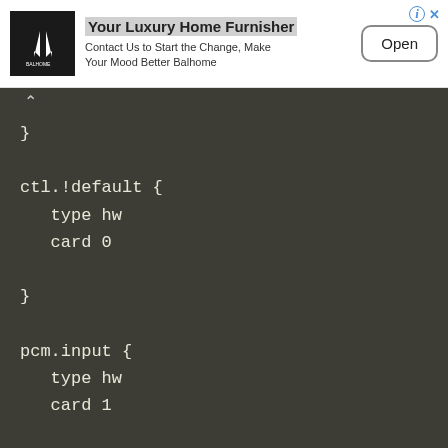[Figure (other): Advertisement banner for Balhome luxury home furnisher with logo, text, and Open button]
}

ctl.!default {
   type hw
   card 0

}

pcm.input {
   type hw
   card 1

}
raspi-config ใช้เพื่อเปิดใช้งานการตั้งค่าต่างๆ